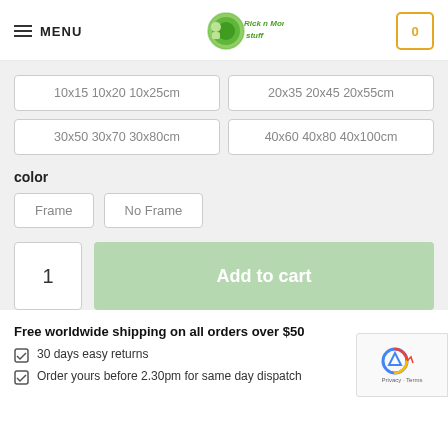MENU | Rick and Morty Stuff logo | Cart (0)
10x15 10x20 10x25cm
20x35 20x45 20x55cm
30x50 30x70 30x80cm
40x60 40x80 40x100cm
color
Frame
No Frame
1
Add to cart
Free worldwide shipping on all orders over $50
30 days easy returns
Order yours before 2.30pm for same day dispatch